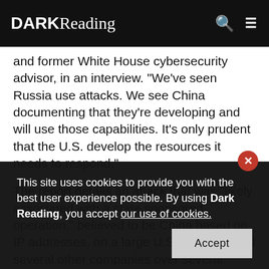DARK Reading
and former White House cybersecurity advisor, in an interview. "We've seen Russia use attacks. We see China documenting that they're developing and will use those capabilities. It's only prudent that the U.S. develop the resources it needs to respond."
The report details an attack that was "likely associated with a state sponsored operation," believed to be China based on IP addresses, on a large U.S. business and several other companies over several weeks within the last few years. The hackers stole specific files found
This site uses cookies to provide you with the best user experience possible. By using Dark Reading, you accept our use of cookies.
Accept